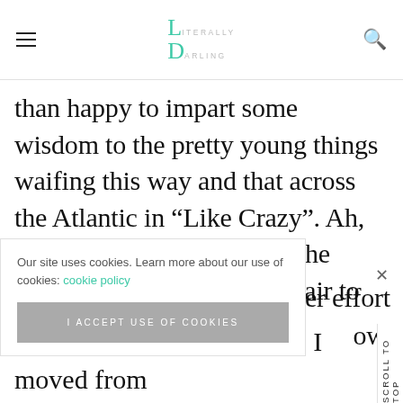Literally Darling — navigation header with hamburger menu and search icon
than happy to impart some wisdom to the pretty young things waifing this way and that across the Atlantic in “Like Crazy”. Ah, yes: Having lived through the same situation, I think it’s fair to say my [inner effort] [ow.] Okay... let’s rewind a little. I moved from
Our site uses cookies. Learn more about our use of cookies: cookie policy
I ACCEPT USE OF COOKIES